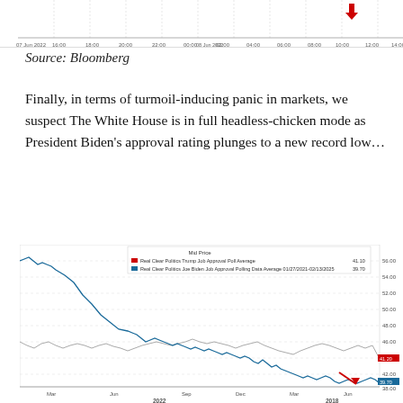[Figure (continuous-plot): Top portion of a financial time series chart (cropped), with x-axis labels showing times: 16:00, 18:00, 20:00, 22:00, 00:00, 02:00, 04:00, 06:00, 08:00, 10:00, 12:00, 14:00. Dates 07 Jun 2022 and 08 Jun 2022 visible. A red arrow indicator near top right.]
Source: Bloomberg
Finally, in terms of turmoil-inducing panic in markets, we suspect The White House is in full headless-chicken mode as President Biden’s approval rating plunges to a new record low…
[Figure (line-chart): Line chart showing Real Clear Politics job approval polling averages. Two series: Trump Job Approval Poll Average (red/gray line) and Joe Biden Job Approval Polling Data Average 01/27/2021-02/13/2025 (blue line). Biden line starts high around 54 and trends sharply down to ~39.70. Trump line fluctuates around 41-44. Y-axis: 38.00 to 56.00. X-axis: Mar 2022, Jun 2022, Sep 2022, Dec 2022, Mar 2023, Jun 2023. Labels show Mid Price: 41.10 for Trump, 39.70 for Biden. Red arrow annotation pointing down on Biden line.]